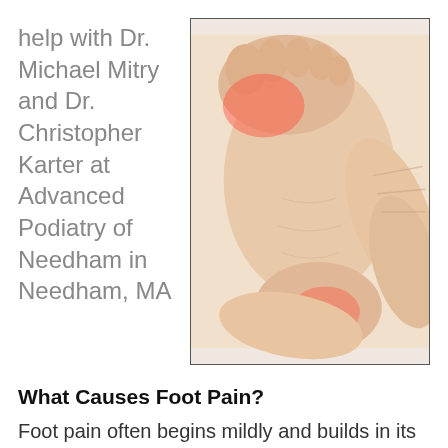help with Dr. Michael Mitry and Dr. Christopher Karter at Advanced Podiatry of Needham in Needham, MA
[Figure (photo): Close-up photo of a person holding a foot with highlighted red pain areas at the ball of the foot and heel]
What Causes Foot Pain?
Foot pain often begins mildly and builds in its severity slowly over time. However, some people may experience an injury or trauma to the foot which causes immediate pain. Though a common